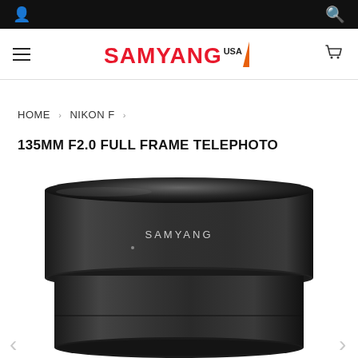Samyang USA website header with user icon and search icon
[Figure (logo): Samyang USA logo in red with orange slash mark and USA superscript]
HOME › NIKON F ›
135MM F2.0 FULL FRAME TELEPHOTO
[Figure (photo): Close-up photo of a black Samyang 135mm F2.0 camera lens with lens hood attached, showing the Samyang brand name on the barrel]